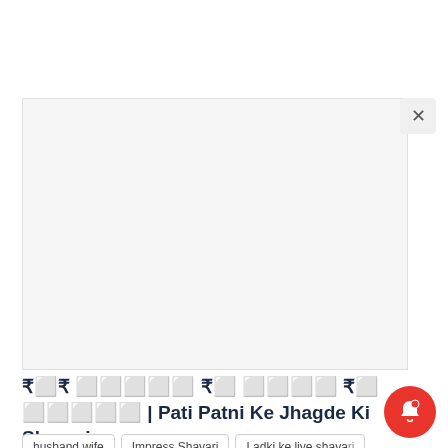[Figure (screenshot): Gray advertisement placeholder box with close (X) button in top-right corner]
??? ????? ?? ???? ?? ????? | Pati Patni Ke Jhagde Ki Shayari
husband wife
Impress Shayari
Ladki ke liye shayari
latest sad shayari in hindi
Love Shayari